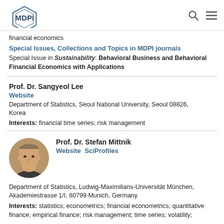MDPI
financial economics
Special Issues, Collections and Topics in MDPI journals
Special Issue in Sustainability: Behavioral Business and Behavioral Financial Economics with Applications
Prof. Dr. Sangyeol Lee
Website
Department of Statistics, Seoul National University, Seoul 08826, Korea
Interests: financial time series; risk management
[Figure (photo): Circular portrait photo of Prof. Dr. Stefan Mittnik]
Prof. Dr. Stefan Mittnik
Website SciProfiles
Department of Statistics, Ludwig-Maximilians-Universität München, Akademiestrasse 1/I, 80799 Munich, Germany
Interests: statistics; econometrics; financial econometrics; quantitative finance; empirical finance; risk management; time series; volatility;